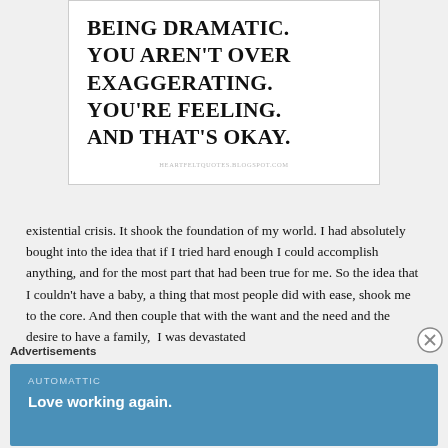[Figure (illustration): Quote card on white background with bold uppercase text: 'BEING DRAMATIC. YOU AREN'T OVER EXAGGERATING. YOU'RE FEELING. AND THAT'S OKAY.' with attribution heartfeltquotes.blogspot.com]
existential crisis. It shook the foundation of my world. I had absolutely bought into the idea that if I tried hard enough I could accomplish anything, and for the most part that had been true for me. So the idea that I couldn't have a baby, a thing that most people did with ease, shook me to the core. And then couple that with the want and the need and the desire to have a family,  I was devastated
Advertisements
[Figure (screenshot): Blue advertisement banner. Company: AUTOMATTIC. Tagline: Love working again.]